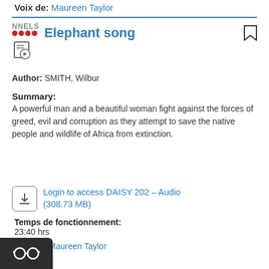Voix de: Maureen Taylor
[Figure (logo): NNELS logo with red dots and audio file icon]
Elephant song
Author: SMITH, Wilbur
Summary:
A powerful man and a beautiful woman fight against the forces of greed, evil and corruption as they attempt to save the native people and wildlife of Africa from extinction.
Login to access DAISY 202 - Audio (308.73 MB)
Temps de fonctionnement: 23:40 hrs
Voix de: Maureen Taylor